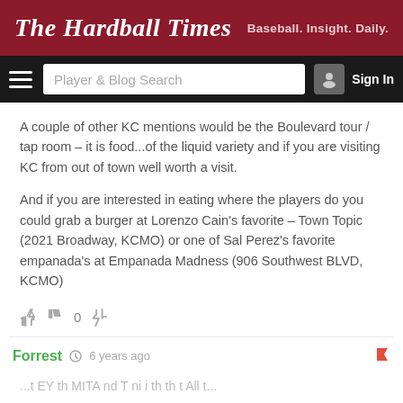The Hardball Times | Baseball. Insight. Daily.
A couple of other KC mentions would be the Boulevard tour / tap room – it is food...of the liquid variety and if you are visiting KC from out of town well worth a visit.
And if you are interested in eating where the players do you could grab a burger at Lorenzo Cain's favorite – Town Topic (2021 Broadway, KCMO) or one of Sal Perez's favorite empanada's at Empanada Madness (906 Southwest BLVD, KCMO)
0
Forrest  6 years ago
...EY th MITA nd T ni i th th t All t...